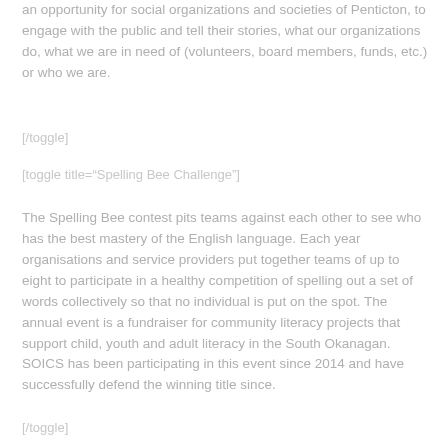an opportunity for social organizations and societies of Penticton, to engage with the public and tell their stories, what our organizations do, what we are in need of (volunteers, board members, funds, etc.) or who we are.
[/toggle]
[toggle title="Spelling Bee Challenge"]
The Spelling Bee contest pits teams against each other to see who has the best mastery of the English language. Each year organisations and service providers put together teams of up to eight to participate in a healthy competition of spelling out a set of words collectively so that no individual is put on the spot. The annual event is a fundraiser for community literacy projects that support child, youth and adult literacy in the South Okanagan. SOICS has been participating in this event since 2014 and have successfully defend the winning title since.
[/toggle]